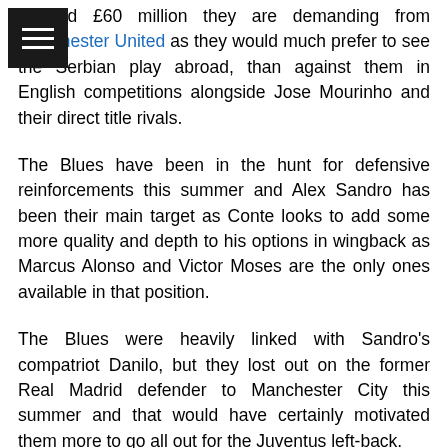…pported £60 million they are demanding from Manchester United as they would much prefer to see the Serbian play abroad, than against them in English competitions alongside Jose Mourinho and their direct title rivals.
The Blues have been in the hunt for defensive reinforcements this summer and Alex Sandro has been their main target as Conte looks to add some more quality and depth to his options in wingback as Marcus Alonso and Victor Moses are the only ones available in that position.
The Blues were heavily linked with Sandro's compatriot Danilo, but they lost out on the former Real Madrid defender to Manchester City this summer and that would have certainly motivated them more to go all out for the Juventus left-back.